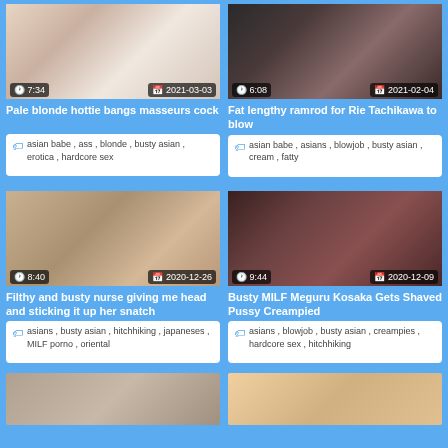[Figure (screenshot): Video thumbnail 1: Pale blonde hottie bangs masseurs cock, duration 7:34, date 2021-03-03]
[Figure (screenshot): Video thumbnail 2: Fat lengthy ramrod for Rie Tachikawa to blow, duration 6:08, date 2021-02-04]
Pale blonde hottie bangs masseurs cock
Fat lengthy ramrod for Rie Tachikawa to blow
asian babe , ass , blonde , busty asian , erotica , hardcore sex
asian babe , asians , blowjob , busty asian , cream , fatty
[Figure (screenshot): Video thumbnail 3: Filthy and busty nurse giving me head and sticking it up her snatch, duration 8:40, date 2020-12-26]
[Figure (screenshot): Video thumbnail 4: Busty MILF Meguru Kosaka Gets Shaved Pussy Creampied, duration 9:44, date 2020-12-09]
Filthy and busty nurse giving me head and sticking it up her snatch
Busty MILF Meguru Kosaka Gets Shaved Pussy Creampied
asians , busty asian , hitchhiking , japaneses , MILF porno , oriental
asians , blowjob , busty asian , creampies , hardcore sex , hitchhiking
[Figure (screenshot): Video thumbnail 5: partial, bottom left]
[Figure (screenshot): Video thumbnail 6: partial, bottom right]